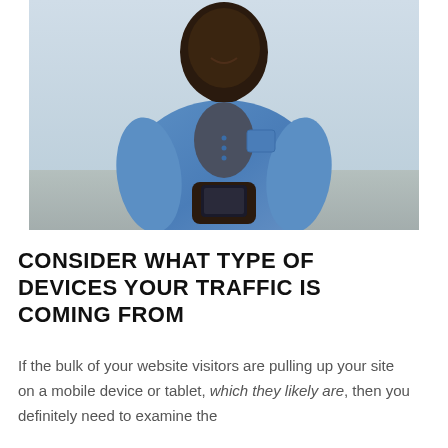[Figure (photo): A man wearing a denim shirt looking down at a smartphone, standing outdoors on a street. He is smiling.]
CONSIDER WHAT TYPE OF DEVICES YOUR TRAFFIC IS COMING FROM
If the bulk of your website visitors are pulling up your site on a mobile device or tablet, which they likely are, then you definitely need to examine the